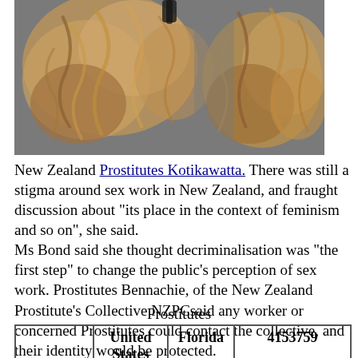[Figure (photo): Photo of curly/wavy blonde and brown hair against a grey background, shown in two views side by side.]
New Zealand Prostitutes Kotikawatta. There was still a stigma around sex work in New Zealand, and fraught discussion about "its place in the context of feminism and so on", she said.
Ms Bond said she thought decriminalisation was "the first step" to change the public's perception of sex work. Prostitutes Bennachie, of the New Zealand Prostitute's Collective NZPCsaid any worker or concerned Prostitutes could contact the collective, and their identity would be protected.
Prostitutes
|  | United States | Florida | 4153759 |
| --- | --- | --- | --- |
| Whores | 467 | no | Search form |
| ... | ... | ... | ... |